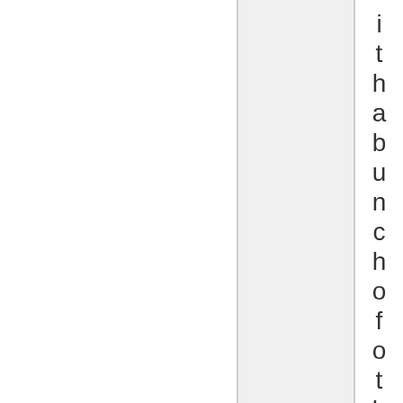i t h a b u n c h o f o t h e r p e o p l